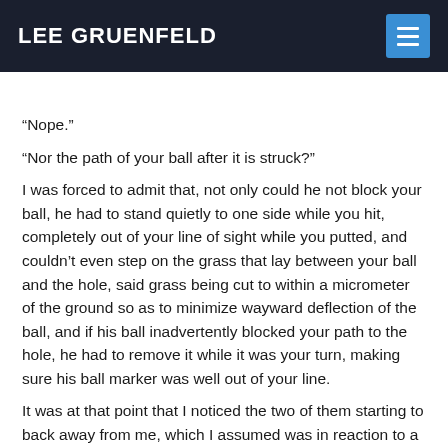LEE GRUENFELD
“Nope.”
“Nor the path of your ball after it is struck?”
I was forced to admit that, not only could he not block your ball, he had to stand quietly to one side while you hit, completely out of your line of sight while you putted, and couldn’t even step on the grass that lay between your ball and the hole, said grass being cut to within a micrometer of the ground so as to minimize wayward deflection of the ball, and if his ball inadvertently blocked your path to the hole, he had to remove it while it was your turn, making sure his ball marker was well out of your line.
It was at that point that I noticed the two of them starting to back away from me, which I assumed was in reaction to a foursome coming up from behind.
I turned back towards the tee box to see that this was not the case. When I turned back, they had moved off at least ten feet and were smiling sheepishly and I decided it would